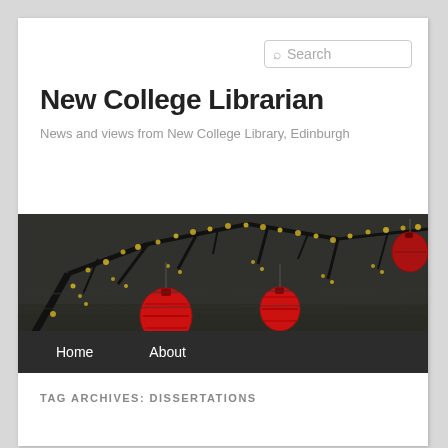Search
New College Librarian
News and views from New College Library, Edinburgh
[Figure (photo): Banner photo of tree branches with yellow blossoms and red Chinese lanterns hanging from them, dark background]
Home   About
TAG ARCHIVES: DISSERTATIONS